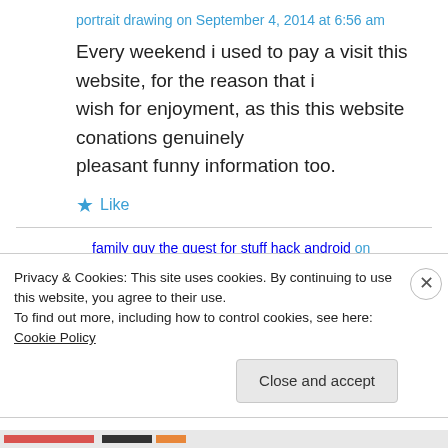portrait drawing on September 4, 2014 at 6:56 am
Every weekend i used to pay a visit this website, for the reason that i wish for enjoyment, as this this website conations genuinely pleasant funny information too.
★ Like
family guy the quest for stuff hack android on
Privacy & Cookies: This site uses cookies. By continuing to use this website, you agree to their use.
To find out more, including how to control cookies, see here: Cookie Policy
Close and accept